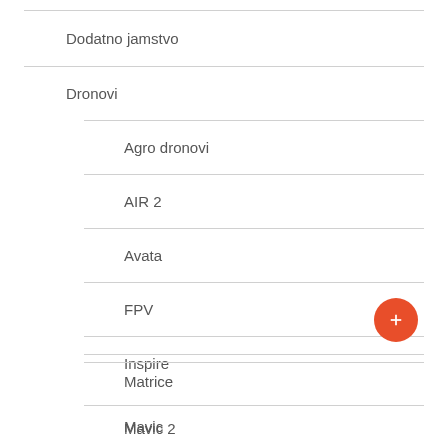Dodatno jamstvo
Dronovi
Agro dronovi
AIR 2
Avata
FPV
Inspire
Matrice
Mavic
Mavic 2